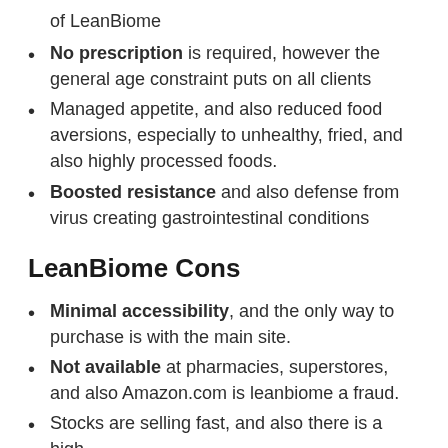of LeanBiome
No prescription is required, however the general age constraint puts on all clients
Managed appetite, and also reduced food aversions, especially to unhealthy, fried, and also highly processed foods.
Boosted resistance and also defense from virus creating gastrointestinal conditions
LeanBiome Cons
Minimal accessibility, and the only way to purchase is with the main site.
Not available at pharmacies, superstores, and also Amazon.com is leanbiome a fraud.
Stocks are selling fast, and also there is a high